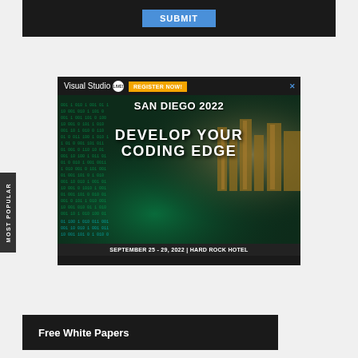[Figure (screenshot): Dark top bar with blue SUBMIT button]
[Figure (screenshot): Visual Studio LIVE! advertisement banner for San Diego 2022 conference. Text: REGISTER NOW!, SAN DIEGO 2022, DEVELOP YOUR CODING EDGE, SEPTEMBER 25 - 29, 2022 | HARD ROCK HOTEL]
MOST POPULAR
Free White Papers